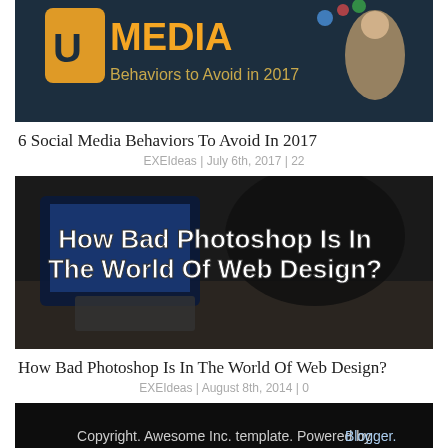[Figure (screenshot): Partial thumbnail image for '6 Social Media Behaviors To Avoid In 2017' showing social media graphic with colorful icons and text]
6 Social Media Behaviors To Avoid In 2017
EXEIdeas | July 6th, 2017 | 22
[Figure (screenshot): Thumbnail image for 'How Bad Photoshop Is In The World Of Web Design?' showing a dark image of person at computer with bold white text overlay]
How Bad Photoshop Is In The World Of Web Design?
EXEIdeas | August 8th, 2014 | 0
[Figure (screenshot): Dark footer image with text 'Copyright. Awesome Inc. template. Powered by Blogger.']